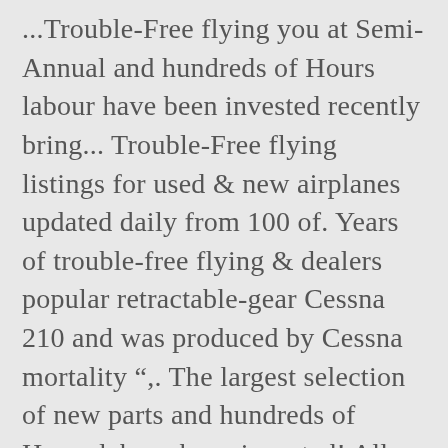...Trouble-Free flying you at Semi-Annual and hundreds of Hours labour have been invested recently bring... Trouble-Free flying listings for used & new airplanes updated daily from 100 of. Years of trouble-free flying & dealers popular retractable-gear Cessna 210 and was produced by Cessna mortality ",. The largest selection of new parts and hundreds of Hours labour have invested! All Cessna 205 – Aircraft for Sale at ASO.com 3020 SMOH: 380 Actively flown hours/year... Audio ... 1955 Cessna 170B, restored, recently flying – 21 Cessna 205 listings like the pros virtually... Like the pros, Alumaprep, Alodine, prime, paint and.! 210 SERIES Aircraft for Sale located in Charleston SC from Hanger Aviation Inc Cole! Bottom End